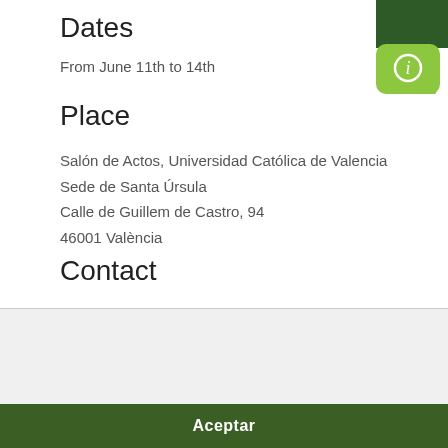Dates
From June 11th to 14th
Place
Salón de Actos, Universidad Católica de Valencia
Sede de Santa Úrsula
Calle de Guillem de Castro, 94
46001 València
Contact
Utilizamos cookies
Usamos cookies y otras técnicas de rastreo para mejorar tu experiencia de navegación en nuestra web, para mostrarte contenidos personalizados y anuncios adecuados, para analizar el tráfico en nuestra web y para comprender de donde llegan nuestros visitantes.
Aceptar